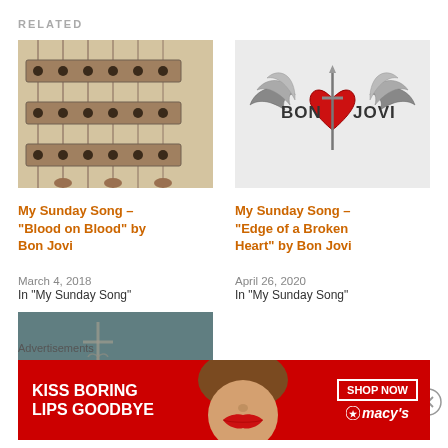RELATED
[Figure (photo): Close-up photo of an electric guitar body showing pickups and strings (cream/beige colored Stratocaster style)]
My Sunday Song – “Blood on Blood” by Bon Jovi
March 4, 2018
In "My Sunday Song"
[Figure (logo): Bon Jovi logo with winged heart and sword emblem on light gray background]
My Sunday Song – “Edge of a Broken Heart” by Bon Jovi
April 26, 2020
In "My Sunday Song"
[Figure (photo): Dark moody photo with metallic cross/pendant necklace jewelry against a teal/gray background]
Advertisements
[Figure (photo): Macy's advertisement banner: red background with woman's face and lips, text 'KISS BORING LIPS GOODBYE', 'SHOP NOW' button, Macy's star logo]